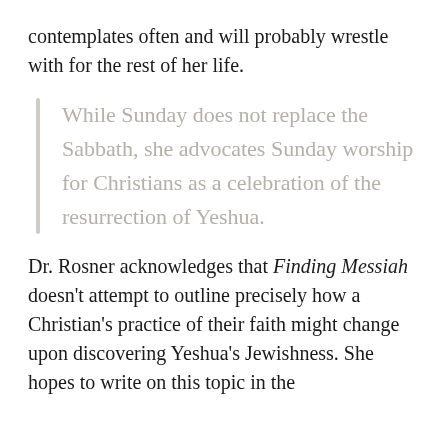contemplates often and will probably wrestle with for the rest of her life.
While Sunday does not replace the Sabbath, she advocates Sunday worship for Christians as a celebration of the resurrection of Yeshua.
Dr. Rosner acknowledges that Finding Messiah doesn't attempt to outline precisely how a Christian's practice of their faith might change upon discovering Yeshua's Jewishness. She hopes to write on this topic in the